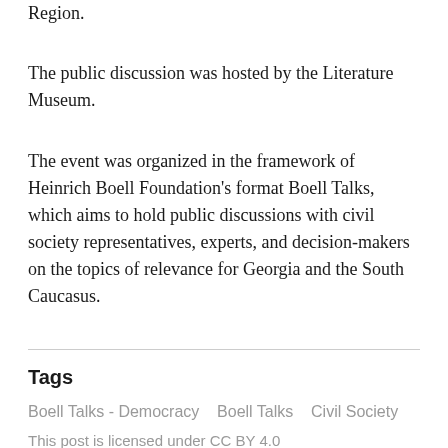Region.
The public discussion was hosted by the Literature Museum.
The event was organized in the framework of Heinrich Boell Foundation's format Boell Talks, which aims to hold public discussions with civil society representatives, experts, and decision-makers on the topics of relevance for Georgia and the South Caucasus.
Tags
Boell Talks - Democracy   Boell Talks   Civil Society
This post is licensed under CC BY 4.0